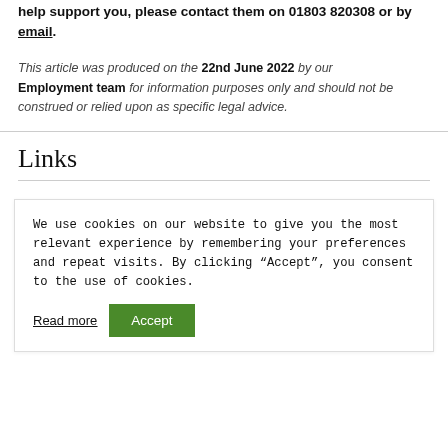help support you, please contact them on 01803 820308 or by email.
This article was produced on the 22nd June 2022 by our Employment team for information purposes only and should not be construed or relied upon as specific legal advice.
Links
We use cookies on our website to give you the most relevant experience by remembering your preferences and repeat visits. By clicking “Accept”, you consent to the use of cookies.
Read more  Accept